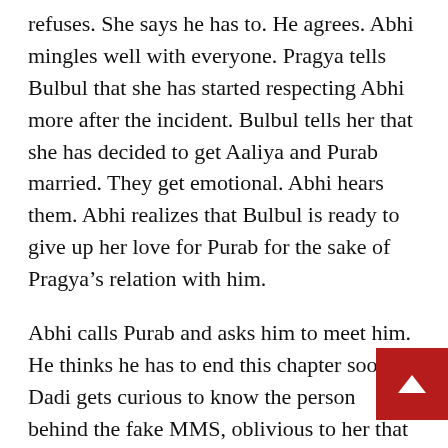refuses. She says he has to. He agrees. Abhi mingles well with everyone. Pragya tells Bulbul that she has started respecting Abhi more after the incident. Bulbul tells her that she has decided to get Aaliya and Purab married. They get emotional. Abhi hears them. Abhi realizes that Bulbul is ready to give up her love for Purab for the sake of Pragya's relation with him.
Abhi calls Purab and asks him to meet him. He thinks he has to end this chapter soon. Dadi gets curious to know the person behind the fake MMS, oblivious to her that she is none other than Aaliya. Dadi curses the person who tried to malign Pragya's reputation. Aaliya gets irked. He comes to the place and meets Purab. He tries to convince Purab to get married to the girl of his choice. P refuses at first, but then Abhi emotionally